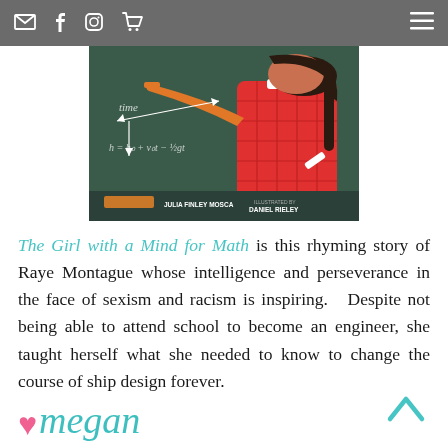[navigation icons: email, facebook, instagram, cart, hamburger menu]
[Figure (illustration): Book cover illustration of 'The Girl with a Mind for Math' by Julia Finley Mosca, illustrated by Daniel Rieley. Shows a girl with dark hair wearing a red checkered sweater, standing at a dark green chalkboard with math equations and 'time' written on it.]
The Girl with a Mind for Math is this rhyming story of Raye Montague whose intelligence and perseverance in the face of sexism and racism is inspiring. Despite not being able to attend school to become an engineer, she taught herself what she needed to know to change the course of ship design forever.
♥megan